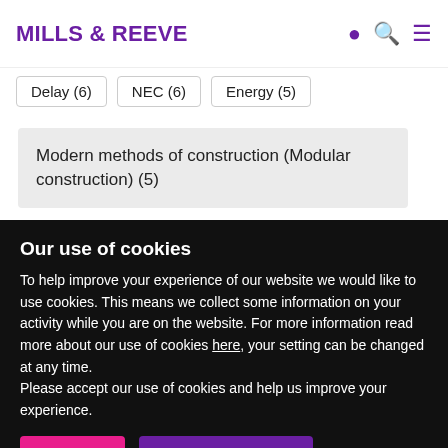MILLS & REEVE
Delay (6)
NEC (6)
Energy (5)
Modern methods of construction (Modular construction) (5)
Coronavirus / COVID-19 (4)
Quantum, causation and warranties 4–5 (4)
Employer's Agent, NEC and other roles (3)
Termination 3 (3)
Insurance (2)
Termination (2)
Building (1)
Our use of cookies
To help improve your experience of our website we would like to use cookies. This means we collect some information on your activity while you are on the website. For more information read more about our use of cookies here, your setting can be changed at any time.
Please accept our use of cookies and help us improve your experience.
Accept
Cookie settings
0344 880 2666